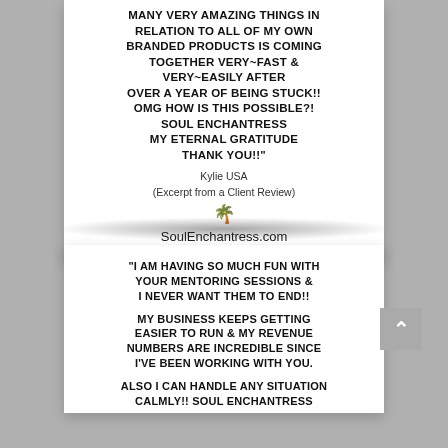MANY VERY AMAZING THINGS IN RELATION TO ALL OF MY OWN BRANDED PRODUCTS IS COMING TOGETHER VERY~FAST & VERY~EASILY AFTER OVER A YEAR OF BEING STUCK!! OMG HOW IS THIS POSSIBLE?! SOUL ENCHANTRESS MY ETERNAL GRATITUDE THANK YOU!!"
Kylie USA
(Excerpt from a Client Review)
SoulEnchantress.com
"I AM HAVING SO MUCH FUN WITH YOUR MENTORING SESSIONS & I NEVER WANT THEM TO END!!

MY BUSINESS KEEPS GETTING EASIER TO RUN & MY REVENUE NUMBERS ARE INCREDIBLE SINCE I'VE BEEN WORKING WITH YOU.

ALSO I CAN HANDLE ANY SITUATION CALMLY!! SOUL ENCHANTRESS